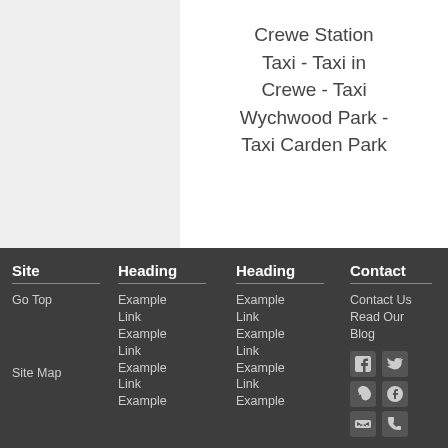Crewe Station Taxi - Taxi in Crewe - Taxi Wychwood Park - Taxi Carden Park
Site
Go Top
Site Map
Heading
Example Link
Example Link
Example Link
Example
Heading
Example Link
Example Link
Example Link
Example
Contact
Contact Us
Read Our Blog